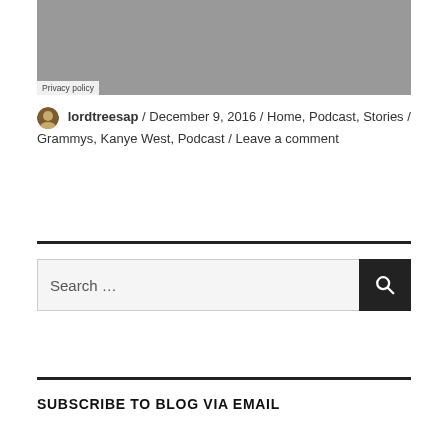[Figure (photo): Gray placeholder image area with Privacy policy label at bottom left]
lordtreesap / December 9, 2016 / Home, Podcast, Stories / Grammys, Kanye West, Podcast / Leave a comment
Search ...
SUBSCRIBE TO BLOG VIA EMAIL